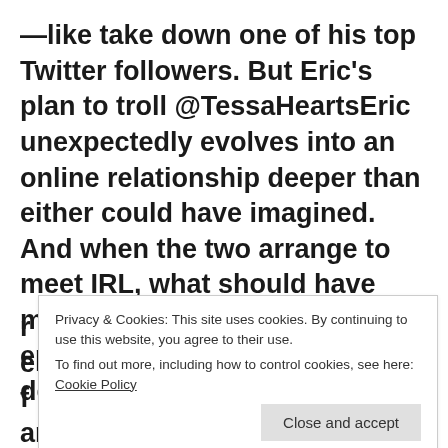—like take down one of his top Twitter followers. But Eric's plan to troll @TessaHeartsEric unexpectedly evolves into an online relationship deeper than either could have imagined. And when the two arrange to meet IRL, what should have made for the world's best episode of Catfish takes a deadly turn…
Privacy & Cookies: This site uses cookies. By continuing to use this website, you agree to their use. To find out more, including how to control cookies, see here: Cookie Policy
Close and accept
and @EricThornSucks), the platform itself is